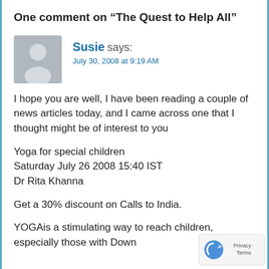One comment on “The Quest to Help All”
Susie says:
July 30, 2008 at 9:19 AM
I hope you are well, I have been reading a couple of news articles today, and I came across one that I thought might be of interest to you
Yoga for special children
Saturday July 26 2008 15:40 IST
Dr Rita Khanna
Get a 30% discount on Calls to India.
YOGAis a stimulating way to reach children, especially those with Down